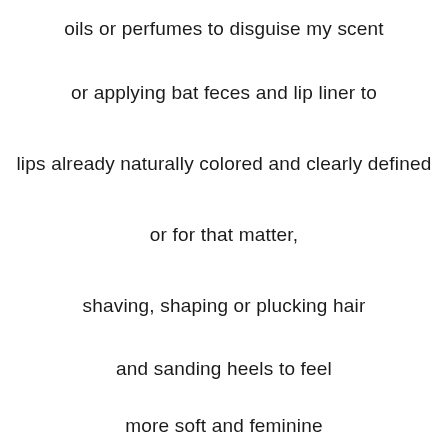oils or perfumes to disguise my scent
or applying bat feces and lip liner to
lips already naturally colored and clearly defined
or for that matter,
shaving, shaping or plucking hair
and sanding heels to feel
more soft and feminine